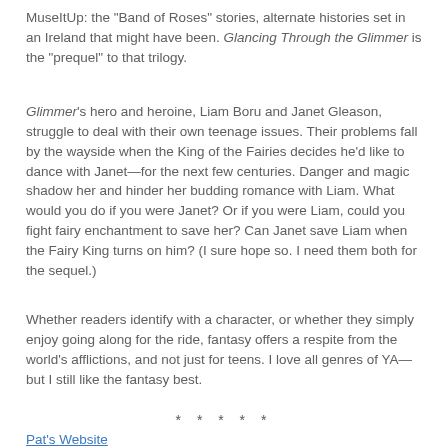MuseItUp: the "Band of Roses" stories, alternate histories set in an Ireland that might have been. Glancing Through the Glimmer is the "prequel" to that trilogy.
Glimmer's hero and heroine, Liam Boru and Janet Gleason, struggle to deal with their own teenage issues. Their problems fall by the wayside when the King of the Fairies decides he'd like to dance with Janet—for the next few centuries. Danger and magic shadow her and hinder her budding romance with Liam. What would you do if you were Janet? Or if you were Liam, could you fight fairy enchantment to save her? Can Janet save Liam when the Fairy King turns on him? (I sure hope so. I need them both for the sequel.)
Whether readers identify with a character, or whether they simply enjoy going along for the ride, fantasy offers a respite from the world's afflictions, and not just for teens. I love all genres of YA—but I still like the fantasy best.
* * * * *
Pat's Website